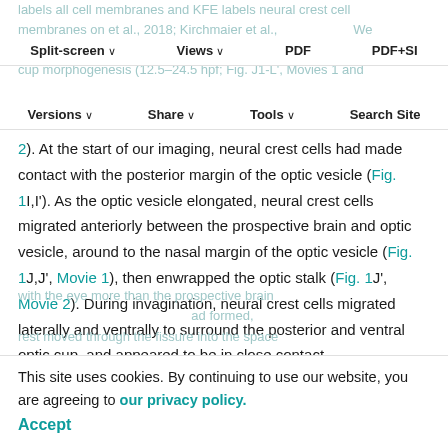labels all cell membranes and KFE labels neural crest cell membranes on et al., 2018; Kirchmaier et al., We performed four-dimensional time-lapse imaging of optic cup morphogenesis (12.5–24.5 hpf; Fig. J1-L', Movies 1 and
Split-screen | Views | PDF | PDF+SI | Versions | Share | Tools | Search Site
2). At the start of our imaging, neural crest cells had made contact with the posterior margin of the optic vesicle (Fig. 1I,I'). As the optic vesicle elongated, neural crest cells migrated anteriorly between the prospective brain and optic vesicle, around to the nasal margin of the optic vesicle (Fig. 1J,J', Movie 1), then enwrapped the optic stalk (Fig. 1J', Movie 2). During invagination, neural crest cells migrated laterally and ventrally to surround the posterior and ventral optic cup, and appeared to be in close contact
with the eye more than the prospective brain
This site uses cookies. By continuing to use our website, you are agreeing to our privacy policy. Accept
rest moved through the fissure into the space